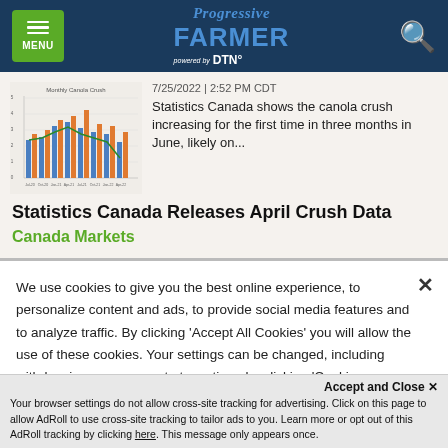Progressive Farmer | DTN — MENU
[Figure (bar-chart): Monthly Canola Crush bar chart with blue and orange grouped bars and a green line overlay, showing data across multiple months]
7/25/2022 | 2:52 PM CDT
Statistics Canada shows the canola crush increasing for the first time in three months in June, likely on...
Statistics Canada Releases April Crush Data
Canada Markets
We use cookies to give you the best online experience, to personalize content and ads, to provide social media features and to analyze traffic. By clicking 'Accept All Cookies' you will allow the use of these cookies. Your settings can be changed, including withdrawing your consent at any time, by clicking 'Cookie Settings'. Find out more on how we and third parties use cookies in our Cookie Policy
Accept and Close ×
Your browser settings do not allow cross-site tracking for advertising. Click on this page to allow AdRoll to use cross-site tracking to tailor ads to you. Learn more or opt out of this AdRoll tracking by clicking here. This message only appears once.